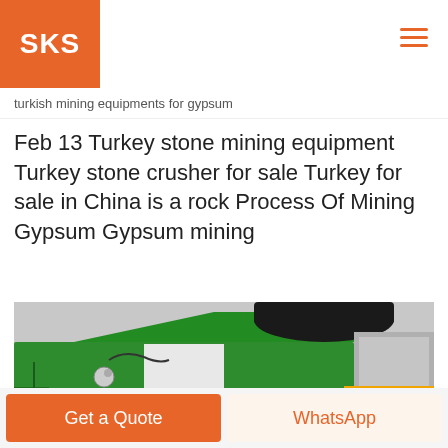SKS
turkish mining equipments for gypsum
Feb 13 Turkey stone mining equipment Turkey stone crusher for sale Turkey for sale in China is a rock Process Of Mining Gypsum Gypsum mining
[Figure (photo): Close-up photo of a green mining/crushing machine labeled 5x10 SO with a black conveyor belt roller visible at top]
Get a Quote | WhatsApp